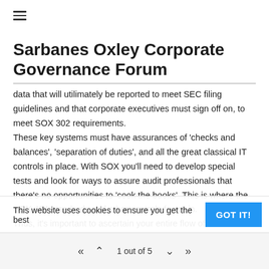Sarbanes Oxley Corporate Governance Forum
data that will utilimately be reported to meet SEC filing guidelines and that corporate executives must sign off on, to meet SOX 302 requirements.
These key systems must have assurances of 'checks and balances', 'separation of duties', and all the great classical IT controls in place. With SOX you'll need to develop special tests and look for ways to assure audit professionals that there's no opportunities to 'cook the books'. This is where the SOX 404 standards and other controls factor in.
Thus, it's important to ascertain your entire flow of financial transactions regardless of size (e.g., if a small system feeds your accounting process
This website uses cookies to ensure you get the best
1 out of 5